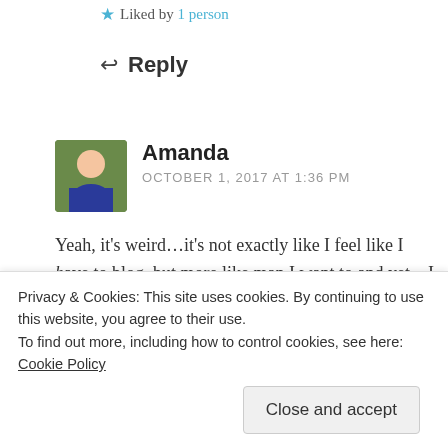★ Liked by 1 person
↩ Reply
Amanda
OCTOBER 1, 2017 AT 1:36 PM
Yeah, it's weird...it's not exactly like I feel like I have to blog, but more like man I want to and yet...I don't know what the words are yet...
★ Like
Privacy & Cookies: This site uses cookies. By continuing to use this website, you agree to their use.
To find out more, including how to control cookies, see here: Cookie Policy
Close and accept